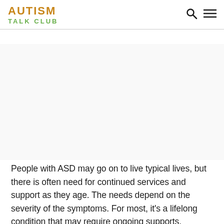AUTISM TALK CLUB
[Figure (other): Blank/white image placeholder area below the navigation header]
People with ASD may go on to live typical lives, but there is often need for continued services and support as they age. The needs depend on the severity of the symptoms. For most, it’s a lifelong condition that may require ongoing supports.